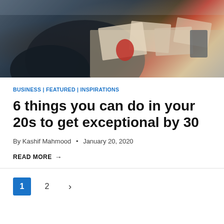[Figure (photo): Person sitting at desk reading magazines and documents, viewed from behind/side]
BUSINESS | FEATURED | INSPIRATIONS
6 things you can do in your 20s to get exceptional by 30
By Kashif Mahmood • January 20, 2020
READ MORE →